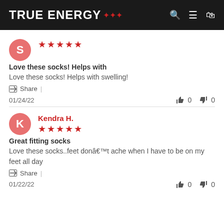TRUE ENERGY
Love these socks! Helps with
Love these socks! Helps with swelling!
Share | 01/24/22  👍 0  👎 0
Kendra H.
★★★★★
Great fitting socks
Love these socks..feet donâ€™t ache when I have to be on my feet all day
Share | 01/22/22  👍 0  👎 0